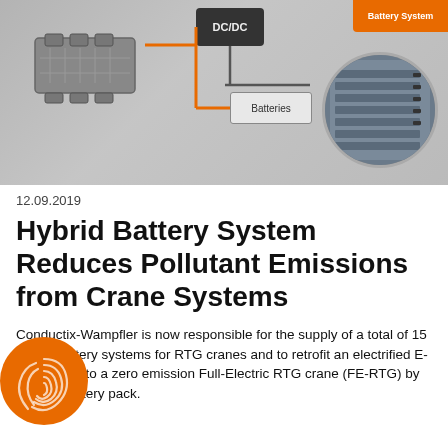[Figure (schematic): Hybrid battery system schematic diagram showing an engine/generator on the left connected via orange and gray lines to a DC/DC converter box in the center, which connects down to a 'Batteries' labeled box. A circular inset photo on the right shows actual battery hardware installed in a cabinet. Background shows a faded crane/equipment photo.]
12.09.2019
Hybrid Battery System Reduces Pollutant Emissions from Crane Systems
Conductix-Wampfler is now responsible for the supply of a total of 15 hybrid battery systems for RTG cranes and to retrofit an electrified E-RTG crane to a zero emission Full-Electric RTG crane (FE-RTG) by using a battery pack.
▶ More information